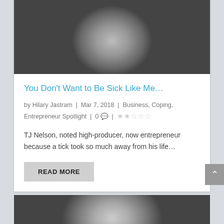[Figure (photo): Black and white close-up portrait photo of a man with stubble beard, top portion of article card]
You Don’t Want to Be Sick Like Me…
by Hilary Jastram | Mar 7, 2018 | Business, Coping, Entrepreneur Spotlight | 0 💬 | ★★☆☆☆
TJ Nelson, noted high-producer, now entrepreneur because a tick took so much away from his life…
READ MORE
[Figure (photo): Black and white portrait photo of a man with styled hair, top of second article card]